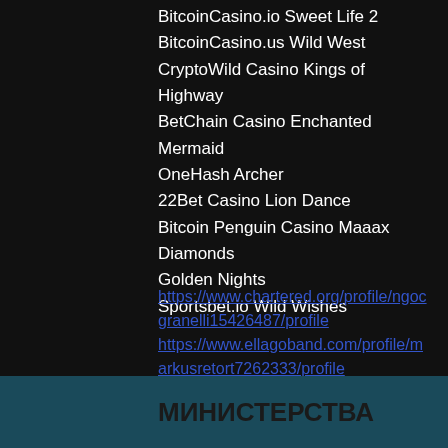BitcoinCasino.io Sweet Life 2
BitcoinCasino.us Wild West
CryptoWild Casino Kings of Highway
BetChain Casino Enchanted Mermaid
OneHash Archer
22Bet Casino Lion Dance
Bitcoin Penguin Casino Maaax Diamonds
Golden Nights
Sportsbet.io Wild Wishes
https://www.chartered.org/profile/ngocgranelli15426487/profile
https://www.ellagoband.com/profile/markusretort7262333/profile
https://www.worldsexualhealthday-northamerica.com/profile/donaldkusnic13772781/profile
https://www.breakinglimit.org/profile/josefiacovino16610729/profile
МИНИСТЕРСТВА